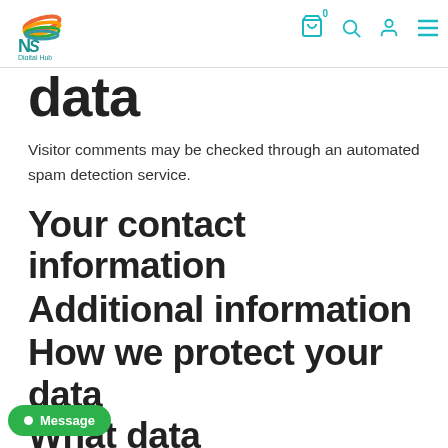[Figure (logo): NSB Digital Hub logo with colorful swoosh and teal text]
data
Visitor comments may be checked through an automated spam detection service.
Your contact information
Additional information
How we protect your data
What data